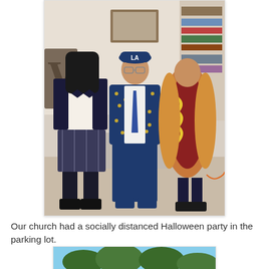[Figure (photo): Three people in Halloween costumes standing indoors. On the left is a girl dressed as a schoolgirl with a plaid skirt and knee-high socks. In the middle is a man in a Dodgers-themed suit and cap. On the right is a child dressed as a hot dog.]
Our church had a socially distanced Halloween party in the parking lot.
[Figure (photo): Partial view of an outdoor photo, appears to show trees and sky.]